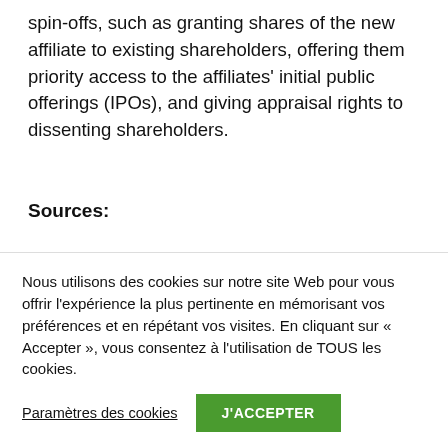spin-offs, such as granting shares of the new affiliate to existing shareholders, offering them priority access to the affiliates' initial public offerings (IPOs), and giving appraisal rights to dissenting shareholders.
Sources:
https://www.kedglobal.com/newsView/ked20220306004
Nous utilisons des cookies sur notre site Web pour vous offrir l'expérience la plus pertinente en mémorisant vos préférences et en répétant vos visites. En cliquant sur « Accepter », vous consentez à l'utilisation de TOUS les cookies.
Paramètres des cookies
J'ACCEPTER